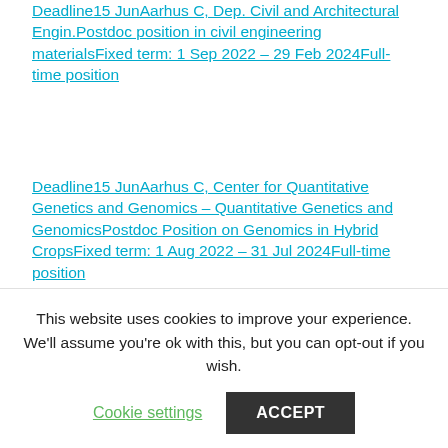Deadline15 JunAarhus C, Dep. Civil and Architectural Engin.Postdoc position in civil engineering materialsFixed term: 1 Sep 2022 – 29 Feb 2024Full-time position
Deadline15 JunAarhus C, Center for Quantitative Genetics and Genomics – Quantitative Genetics and GenomicsPostdoc Position on Genomics in Hybrid CropsFixed term: 1 Aug 2022 – 31 Jul 2024Full-time position
Deadline15 JunAarhus N, Dep. Electrical and
This website uses cookies to improve your experience. We'll assume you're ok with this, but you can opt-out if you wish.